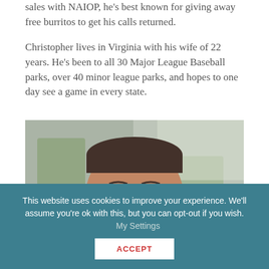sales with NAIOP, he's best known for giving away free burritos to get his calls returned.
Christopher lives in Virginia with his wife of 22 years. He's been to all 30 Major League Baseball parks, over 40 minor league parks, and hopes to one day see a game in every state.
[Figure (photo): Headshot photo of a smiling middle-aged man with short dark hair, taken indoors with a blurred green and white background.]
This website uses cookies to improve your experience. We'll assume you're ok with this, but you can opt-out if you wish.   My Settings
ACCEPT